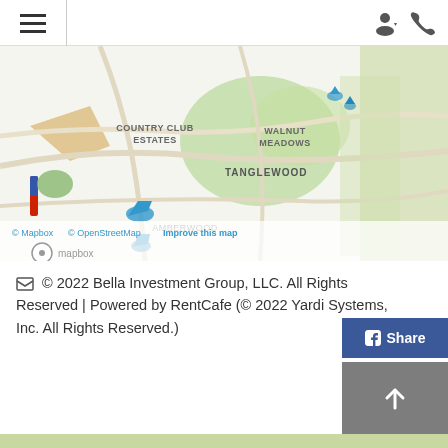Navigation header with hamburger menu and user/phone icons
[Figure (map): Mapbox/OpenStreetMap showing Country Club Estates, Walnut Meadows, Tanglewood, and Amberwood neighborhoods with blue property markers]
© 2022 Bella Investment Group, LLC. All Rights Reserved | Powered by RentCafe (© 2022 Yardi Systems, Inc. All Rights Reserved.)